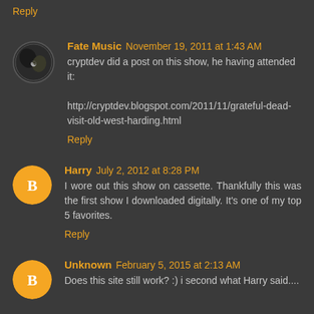Reply
Fate Music  November 19, 2011 at 1:43 AM
cryptdev did a post on this show, he having attended it:

http://cryptdev.blogspot.com/2011/11/grateful-dead-visit-old-west-harding.html
Reply
Harry  July 2, 2012 at 8:28 PM
I wore out this show on cassette. Thankfully this was the first show I downloaded digitally. It's one of my top 5 favorites.
Reply
Unknown  February 5, 2015 at 2:13 AM
Does this site still work? :) i second what Harry said....